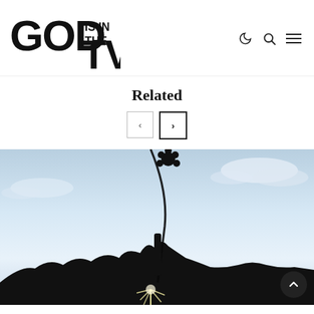[Figure (logo): GOD IS IN THE TV logo in bold distressed/stamped black block letters]
Related
[Figure (photo): Silhouette of a person holding up a flower (daisy/sunflower) and a curved guitar neck/instrument against a bright sky with sun flare and clouds, backlit outdoor concert or festival photo]